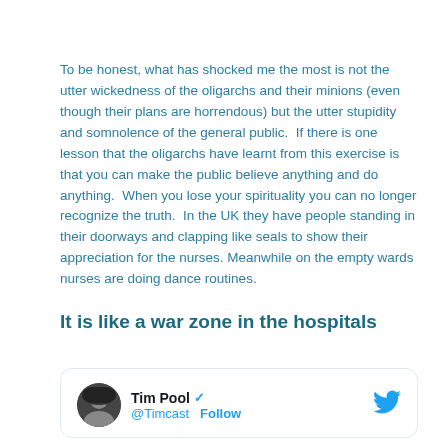To be honest, what has shocked me the most is not the utter wickedness of the oligarchs and their minions (even though their plans are horrendous) but the utter stupidity and somnolence of the general public.  If there is one lesson that the oligarchs have learnt from this exercise is that you can make the public believe anything and do anything.  When you lose your spirituality you can no longer recognize the truth.  In the UK they have people standing in their doorways and clapping like seals to show their appreciation for the nurses. Meanwhile on the empty wards nurses are doing dance routines.
It is like a war zone in the hospitals
[Figure (screenshot): Tweet card showing Tim Pool (@Timcast) with a verified badge and Follow link, Twitter bird logo in top right corner. Avatar shows a person in a dark beanie hat.]